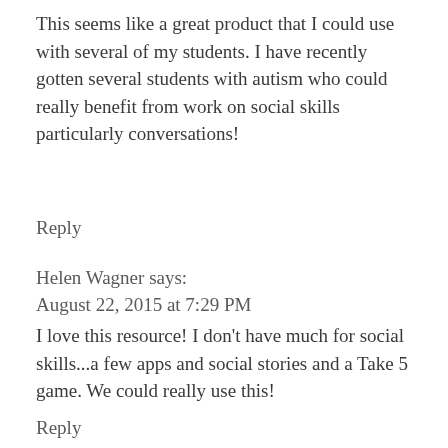This seems like a great product that I could use with several of my students. I have recently gotten several students with autism who could really benefit from work on social skills particularly conversations!
Reply
Helen Wagner says:
August 22, 2015 at 7:29 PM
I love this resource! I don't have much for social skills...a few apps and social stories and a Take 5 game. We could really use this!
Reply